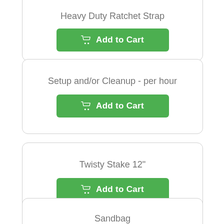Heavy Duty Ratchet Strap
Add to Cart
Setup and/or Cleanup - per hour
Add to Cart
Twisty Stake 12"
Add to Cart
Sandbag
Add to Cart